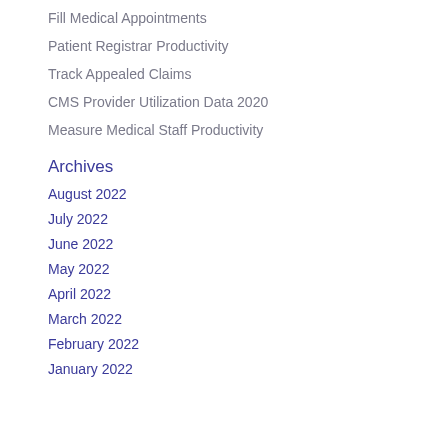Fill Medical Appointments
Patient Registrar Productivity
Track Appealed Claims
CMS Provider Utilization Data 2020
Measure Medical Staff Productivity
Archives
August 2022
July 2022
June 2022
May 2022
April 2022
March 2022
February 2022
January 2022